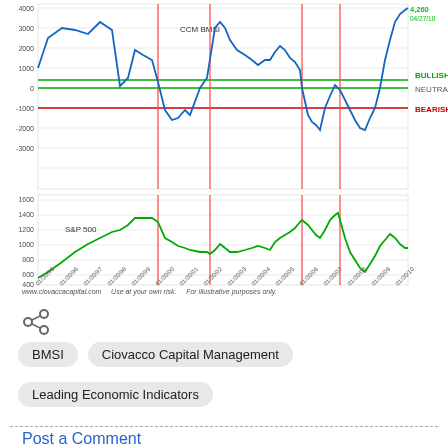[Figure (line-chart): Dual-panel line chart: top panel shows CCM BMSI indicator (blue line) with BULLISH/NEUTRAL/BEARISH bands; bottom panel shows S&P 500 (green line). X-axis: 01/20/95 to 01/20/10. Red vertical lines mark key periods.]
www.ciovaccacapital.com   Use at your own risk.   For illustrative purposes only.
[Figure (other): Share icon (less-than symbol styled as share)]
BMSI
Ciovacco Capital Management
Leading Economic Indicators
Post a Comment